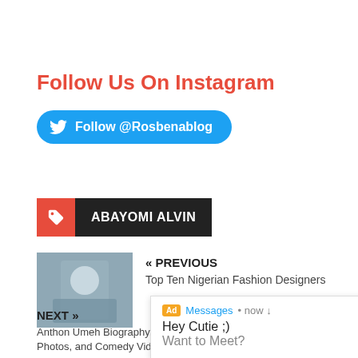Follow Us On Instagram
Follow @Rosbenablog
ABAYOMI ALVIN
« PREVIOUS
Top Ten Nigerian Fashion Designers
[Figure (screenshot): Ad overlay showing Messages notification with text 'Hey Cutie ;) Want to Meet?']
NEXT »
Anthon Umeh Biography, Net Worth, Photos, and Comedy Videos